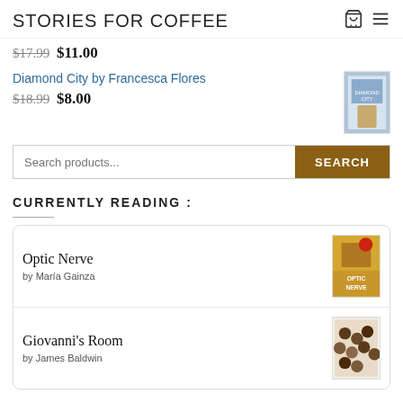STORIES FOR COFFEE
$17.99  $11.00
Diamond City by Francesca Flores
$18.99  $8.00
Search products...
CURRENTLY READING :
Optic Nerve
by María Gainza
Giovanni's Room
by James Baldwin